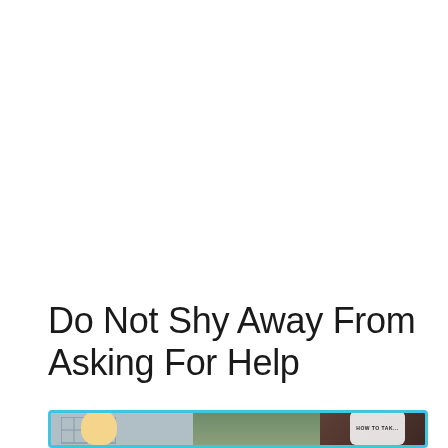Do Not Shy Away From Asking For Help
[Figure (photo): A photo showing a woman with blonde hair seated in front of a wall with framed artwork and a plant, with a phone/device overlay showing partial text in the bottom right, framed with a cyan/light-blue border.]